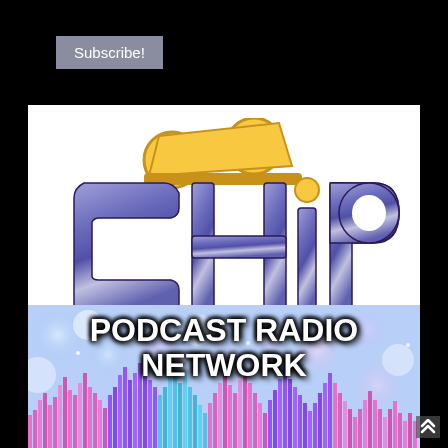Subscribe!
[Figure (logo): Chip & Company logo — large stylized metallic purple 'CHIP' letters with Mickey Mouse ears hat on top, and golden script 'Company' text below with swirling 'C'. White background.]
[Figure (illustration): Podcast Radio Network banner with colorful bokeh background (blue, purple, pink) and audio waveform bars at bottom. Bold white text reads 'PODCAST RADIO NETWORK'.]